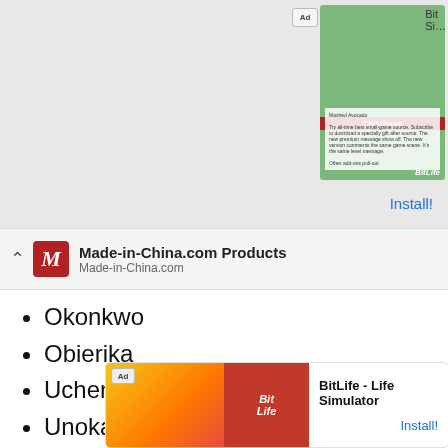[Figure (screenshot): Top advertisement banner for BitLife app showing Childhood-themed image with BitLife logo and Install button]
Made-in-China.com Products
Made-in-China.com
Okonkwo
Obierika
Uchendu
Unoka
Nwoye
Maduka
Ogbuefi Ezeudu
Ekwefi
Ezinma
Ch…
M…
[Figure (screenshot): Bottom advertisement overlay for BitLife - Life Simulator app with Install button]